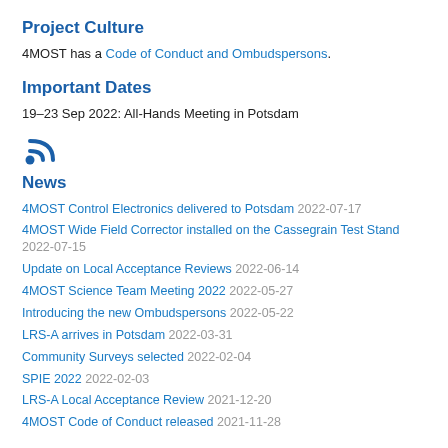Project Culture
4MOST has a Code of Conduct and Ombudspersons.
Important Dates
19–23 Sep 2022: All-Hands Meeting in Potsdam
[Figure (other): RSS feed icon]
News
4MOST Control Electronics delivered to Potsdam 2022-07-17
4MOST Wide Field Corrector installed on the Cassegrain Test Stand 2022-07-15
Update on Local Acceptance Reviews 2022-06-14
4MOST Science Team Meeting 2022 2022-05-27
Introducing the new Ombudspersons 2022-05-22
LRS-A arrives in Potsdam 2022-03-31
Community Surveys selected 2022-02-04
SPIE 2022 2022-02-03
LRS-A Local Acceptance Review 2021-12-20
4MOST Code of Conduct released 2021-11-28